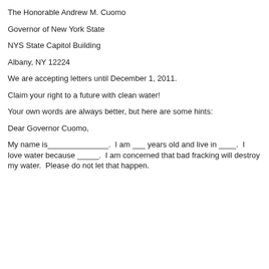The Honorable Andrew M. Cuomo
Governor of New York State
NYS State Capitol Building
Albany, NY 12224
We are accepting letters until December 1, 2011.
Claim your right to a future with clean water!
Your own words are always better, but here are some hints:
Dear Governor Cuomo,
My name is______________. I am ___ years old and live in ____. I love water because _____. I am concerned that bad fracking will destroy my water. Please do not let that happen.